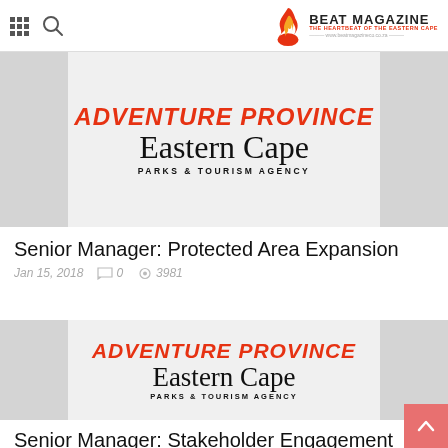Beat Magazine — The Heartbeat of the Eastern Cape
[Figure (logo): Adventure Province Eastern Cape Parks & Tourism Agency logo]
Senior Manager: Protected Area Expansion
Jan 15, 2018   0   3981
[Figure (logo): Adventure Province Eastern Cape Parks & Tourism Agency logo]
Senior Manager: Stakeholder Engagement